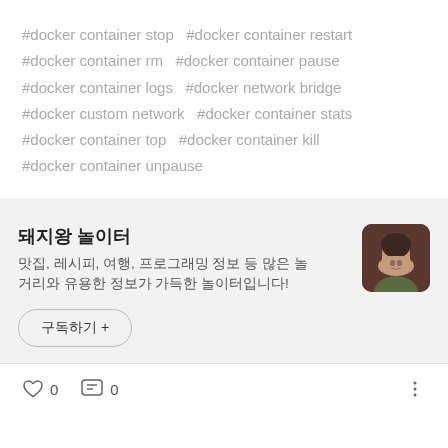#docker container stop  #docker container restart
#docker container rm  #docker container pause
#docker container logs  #docker network bridge
#docker custom network  #docker container stats
#docker container top  #docker container kill
#docker container unpause
돼지왕 놀이터
맛집, 레시피, 여행, 프로그래밍 정보 등 많은 놀거리와 유용한 정보가 가득한 놀이터입니다!
구독하기 +
0   0